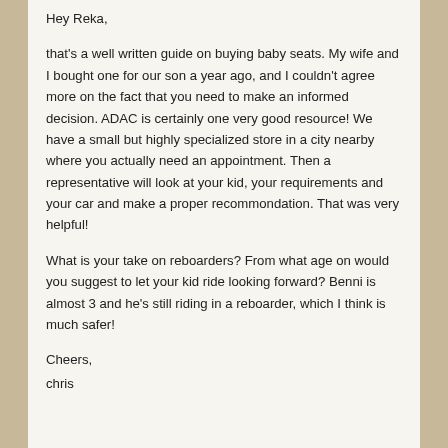Hey Reka,
that's a well written guide on buying baby seats. My wife and I bought one for our son a year ago, and I couldn't agree more on the fact that you need to make an informed decision. ADAC is certainly one very good resource! We have a small but highly specialized store in a city nearby where you actually need an appointment. Then a representative will look at your kid, your requirements and your car and make a proper recommondation. That was very helpful!
What is your take on reboarders? From what age on would you suggest to let your kid ride looking forward? Benni is almost 3 and he's still riding in a reboarder, which I think is much safer!
Cheers,
chris